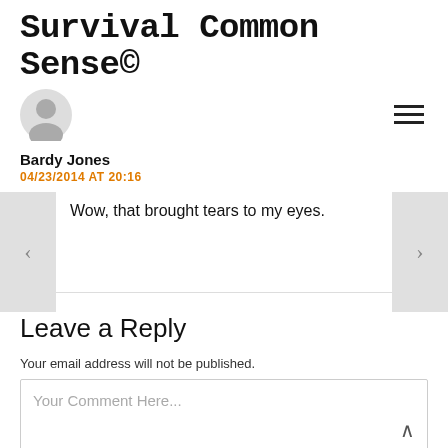Survival Common Sense©
Bardy Jones
04/23/2014 AT 20:16
Wow, that brought tears to my eyes.
Leave a Reply
Your email address will not be published.
Your Comment Here...